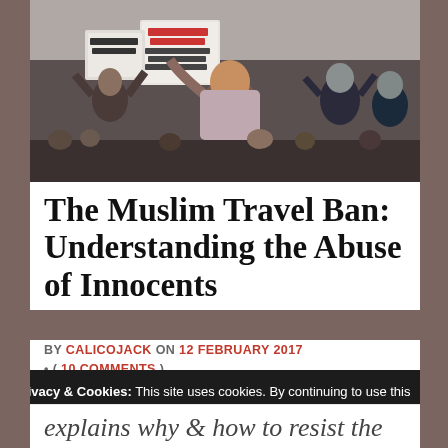[Figure (photo): Protest crowd holding signs including 'No Ban Now' and 'We Are All Immigrants']
The Muslim Travel Ban: Understanding the Abuse of Innocents
BY CALICOJACK ON 12 FEBRUARY 2017 • ( 10 COMMENTS )
★★★★★ ⓘ 11 Votes
Privacy & Cookies: This site uses cookies. By continuing to use this website, you agree to their use.
To find out more, including how to control cookies, see here: Cookie Policy
Close and accept
explains why & how to resist the